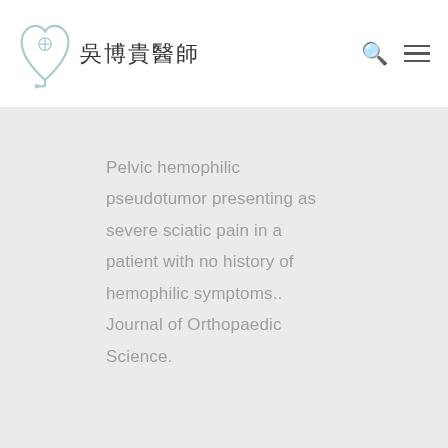吳博貴醫師
Pelvic hemophilic pseudotumor presenting as severe sciatic pain in a patient with no history of hemophilic symptoms.. Journal of Orthopaedic Science.
High-grade osteosarcoma
我們使用cookies來提升您的網站使用體驗。繼續使用本網站代表您接受我們使用cookies的條款。
resection and biological
確認